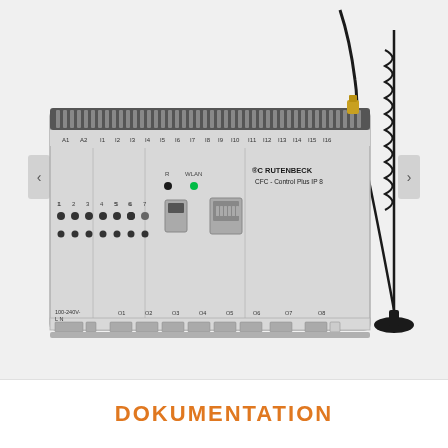[Figure (photo): Photo of a Rutenbeck CFC-Control Plus IP 8 industrial DIN-rail mounted controller with WLAN antenna. The device is light grey with terminal blocks on top and bottom, LED indicators, a USB port, an Ethernet RJ45 port, and labeled connectors (A1, A2, I1-I16, O1-O8, 100-240V L N). A black magnetic-base WLAN antenna is shown to the right of the device connected by a cable to an SMA connector on top. Navigation arrows appear on the left and right edges.]
DOKUMENTATION